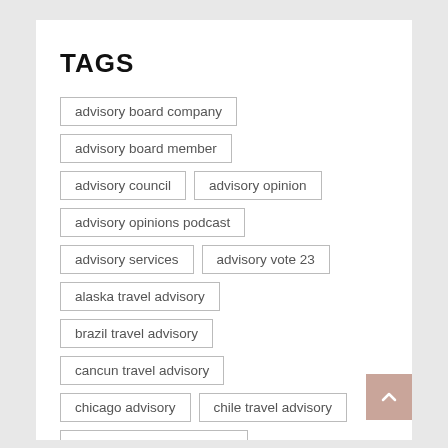TAGS
advisory board company
advisory board member
advisory council
advisory opinion
advisory opinions podcast
advisory services
advisory vote 23
alaska travel advisory
brazil travel advisory
cancun travel advisory
chicago advisory
chile travel advisory
community advisory board
consumer advisory